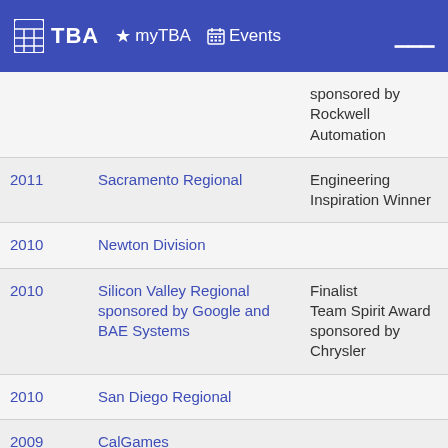TBA ★ myTBA 📅 Events
| Year | Event | Award |
| --- | --- | --- |
|  |  | sponsored by Rockwell Automation |
| 2011 | Sacramento Regional | Engineering Inspiration Winner |
| 2010 | Newton Division |  |
| 2010 | Silicon Valley Regional sponsored by Google and BAE Systems | Finalist
Team Spirit Award sponsored by Chrysler |
| 2010 | San Diego Regional |  |
| 2009 | CalGames |  |
| 2009 | Newton Division |  |
| 2009 | Sacramento Regional |  |
| 2009 | Silicon Valley Regional | Regional Engineering Inspiration Award
Regional Finalist |